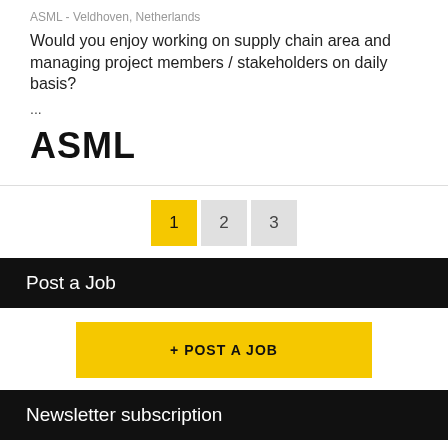ASML - Veldhoven, Netherlands
Would you enjoy working on supply chain area and managing project members / stakeholders on daily basis?
...
[Figure (logo): ASML company logo in bold black text]
1  2  3
Post a Job
+ POST A JOB
Newsletter subscription